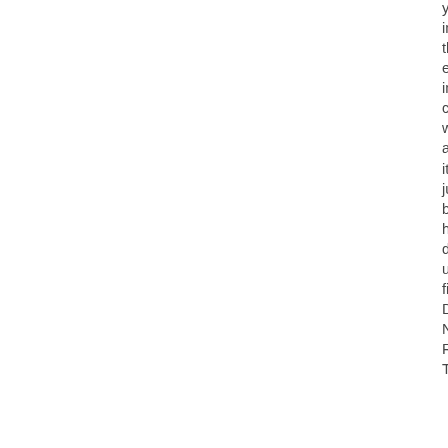yet inc the edi in- chi wh ass it's jus bec he doe und fina DC NC RE TH
The nan Jan Jan Use We